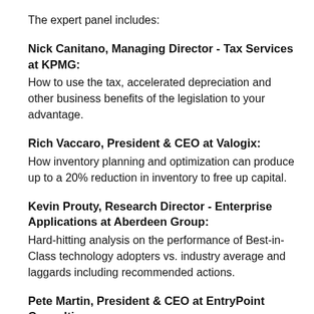The expert panel includes:
Nick Canitano, Managing Director - Tax Services at KPMG: How to use the tax, accelerated depreciation and other business benefits of the legislation to your advantage.
Rich Vaccaro, President & CEO at Valogix: How inventory planning and optimization can produce up to a 20% reduction in inventory to free up capital.
Kevin Prouty, Research Director - Enterprise Applications at Aberdeen Group: Hard-hitting analysis on the performance of Best-in-Class technology adopters vs. industry average and laggards including recommended actions.
Pete Martin, President & CEO at EntryPoint Consulting: Pulling it all together by illustrating how business incentives, combined with inventory/supply chain optimization and